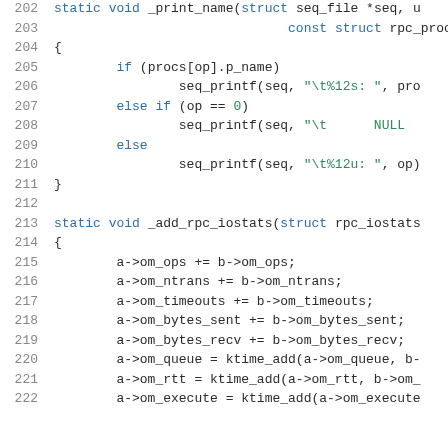[Figure (screenshot): Source code listing showing lines 202-222 of a C file. Lines show two static void functions: _print_name and _add_rpc_iostats, with code using seq_printf calls and pointer arithmetic on rpc_iostats struct fields.]